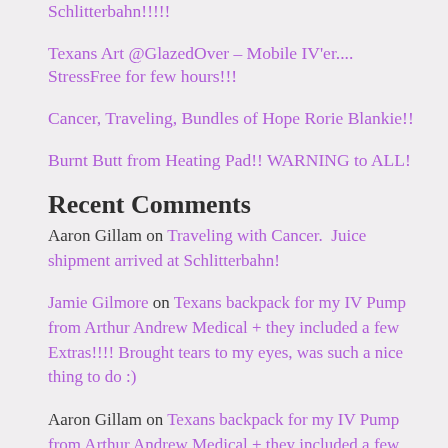Schlitterbahn!!!!!
Texans Art @GlazedOver – Mobile IV'er.... StressFree for few hours!!!
Cancer, Traveling, Bundles of Hope Rorie Blankie!!
Burnt Butt from Heating Pad!! WARNING to ALL!
Recent Comments
Aaron Gillam on Traveling with Cancer.  Juice shipment arrived at Schlitterbahn!
Jamie Gilmore on Texans backpack for my IV Pump from Arthur Andrew Medical + they included a few Extras!!!! Brought tears to my eyes, was such a nice thing to do :)
Aaron Gillam on Texans backpack for my IV Pump from Arthur Andrew Medical + they included a few Extras!!!! Brought tears to my